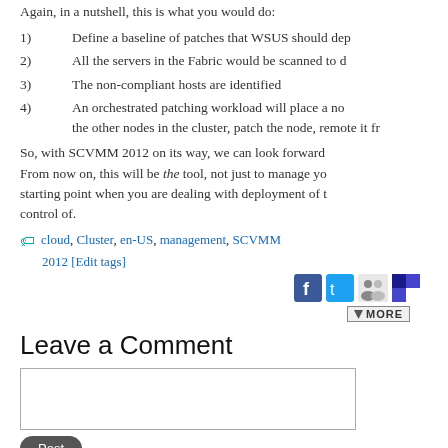Again, in a nutshell, this is what you would do:
1) Define a baseline of patches that WSUS should dep
2) All the servers in the Fabric would be scanned to d
3) The non-compliant hosts are identified
4) An orchestrated patching workload will place a node in maintenance mode by migrating the running workloads to the other nodes in the cluster, patch the node, remote it fr
So, with SCVMM 2012 on its way, we can look forward From now on, this will be the tool, not just to manage yo starting point when you are dealing with deployment of t control of.
cloud, Cluster, en-US, management, SCVMM 2012 [Edit tags]
[Figure (screenshot): Social share icons: Facebook, Twitter, social sharing, and a delicious-style icon, plus a MORE button]
Leave a Comment
[Figure (screenshot): Comment text area input box]
[Figure (screenshot): Post button (dark rounded button)]
Wiki - Revision Comment